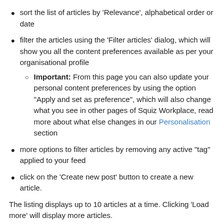sort the list of articles by 'Relevance', alphabetical order or date
filter the articles using the 'Filter articles' dialog, which will show you all the content preferences available as per your organisational profile
Important: From this page you can also update your personal content preferences by using the option "Apply and set as preference", which will also change what you see in other pages of Squiz Workplace, read more about what else changes in our Personalisation section
more options to filter articles by removing any active "tag" applied to your feed
click on the 'Create new post' button to create a new article.
The listing displays up to 10 articles at a time. Clicking 'Load more' will display more articles.